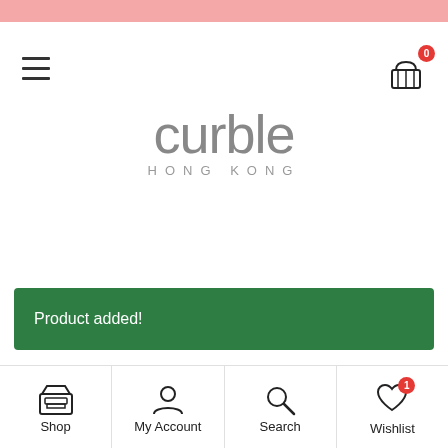[Figure (screenshot): Pink top status bar]
[Figure (logo): Curble Hong Kong logo with hamburger menu and shopping cart icon showing 0 items]
Product added!
[Figure (screenshot): Bottom navigation bar with Shop, My Account, Search, and Wishlist (badge: 1) icons]